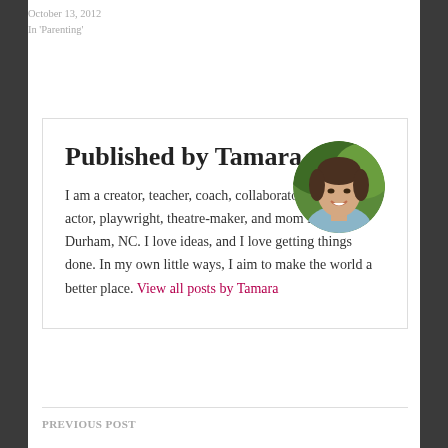October 13, 2012
In 'Parenting'
Published by Tamara
I am a creator, teacher, coach, collaborator, podcaster, actor, playwright, theatre-maker, and mom living in Durham, NC. I love ideas, and I love getting things done. In my own little ways, I aim to make the world a better place. View all posts by Tamara
[Figure (photo): Circular portrait photo of Tamara, a woman with short dark hair, smiling, with a blurred green outdoor background]
PREVIOUS POST